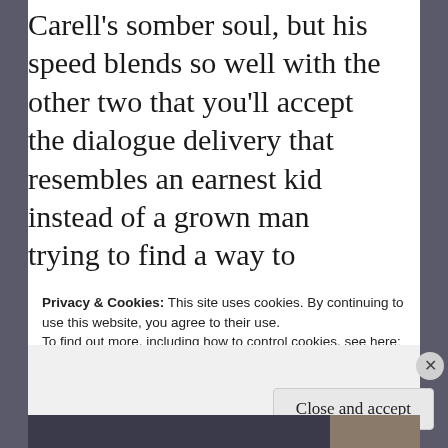Carell's somber soul, but his speed blends so well with the other two that you'll accept the dialogue delivery that resembles an earnest kid instead of a grown man trying to find a way to memorialize his son. I suppose the actor could have went off the handle and hammed it up, but he goes for the understated route instead, and it works.
Privacy & Cookies: This site uses cookies. By continuing to use this website, you agree to their use.
To find out more, including how to control cookies, see here: Cookie Policy